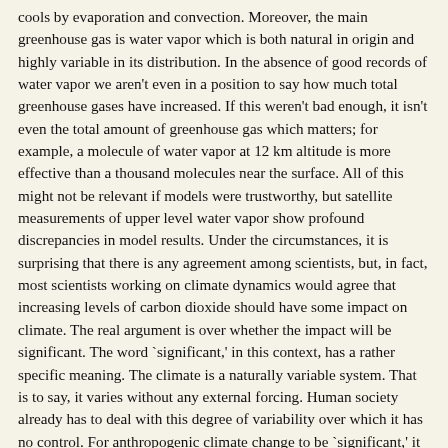cools by evaporation and convection. Moreover, the main greenhouse gas is water vapor which is both natural in origin and highly variable in its distribution. In the absence of good records of water vapor we aren't even in a position to say how much total greenhouse gases have increased. If this weren't bad enough, it isn't even the total amount of greenhouse gas which matters; for example, a molecule of water vapor at 12 km altitude is more effective than a thousand molecules near the surface. All of this might not be relevant if models were trustworthy, but satellite measurements of upper level water vapor show profound discrepancies in model results. Under the circumstances, it is surprising that there is any agreement among scientists, but, in fact, most scientists working on climate dynamics would agree that increasing levels of carbon dioxide should have some impact on climate. The real argument is over whether the impact will be significant. The word `significant,' in this context, has a rather specific meaning. The climate is a naturally variable system. That is to say, it varies without any external forcing. Human society already has to deal with this degree of variability over which it has no control. For anthropogenic climate change to be `significant,' it must be as large or larger than natural variability. For smaller changes, the historical record demonstrates our capacity to adapt. It is in this context that the statement frequently drawn from the 1995 IPCC (Intergovernmental Panel on Climate Change) report assumes some relevance. It is important, therefore, to know precisely what this statement does and doesn't say. Although it is